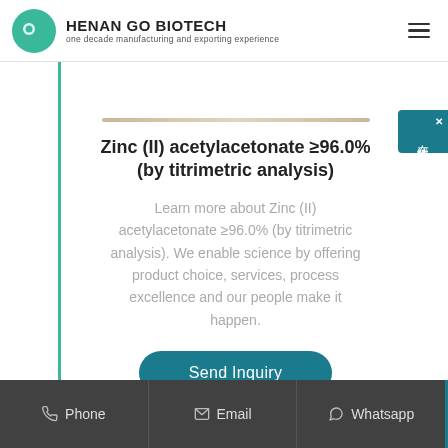HENAN GO BIOTECH — one decade manufacturing and exporting experience
Zinc (II) acetylacetonate ≥96.0% (by titrimetric analysis)
Learn more about Zinc (II) acetylacetonate ≥96.0% (by titrimetric analysis). We enable science by offering product choice, services, process excellence and our people make it happen.
Phone  |  Email  |  Whatsapp